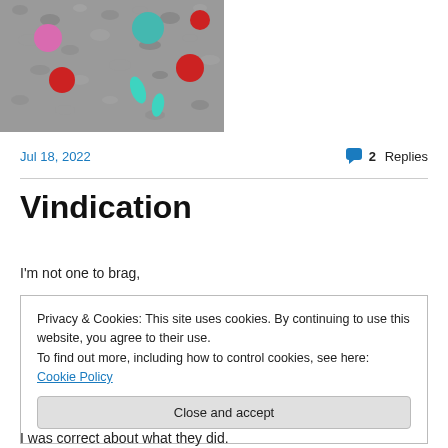[Figure (photo): Close-up photo of carpet with colorful confetti pieces in pink, red, teal/cyan colors scattered on grey carpet texture]
Jul 18, 2022
2 Replies
Vindication
I'm not one to brag,
Privacy & Cookies: This site uses cookies. By continuing to use this website, you agree to their use.
To find out more, including how to control cookies, see here: Cookie Policy
Close and accept
I was correct about what they did.